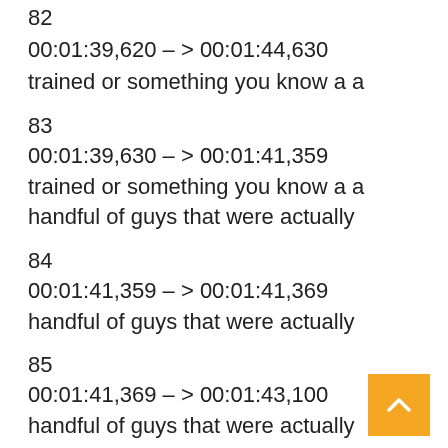82
00:01:39,620 – > 00:01:44,630
trained or something you know a a
83
00:01:39,630 – > 00:01:41,359
trained or something you know a a handful of guys that were actually
84
00:01:41,359 – > 00:01:41,369
handful of guys that were actually
85
00:01:41,369 – > 00:01:43,100
handful of guys that were actually combat ready and ready to roll which is
86
00:01:43,100 – > 00:01:43,110